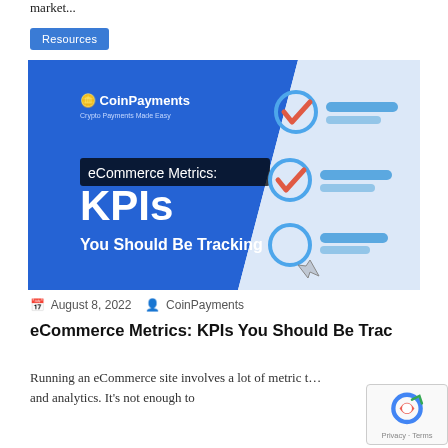market...
Resources
[Figure (illustration): eCommerce Metrics: KPIs You Should Be Tracking — CoinPayments branded banner image with blue diagonal background, checklist icons (checkmarks and a cursor), and white/bold text.]
August 8, 2022   CoinPayments
eCommerce Metrics: KPIs You Should Be Tracking
Running an eCommerce site involves a lot of metric t… and analytics. It's not enough to